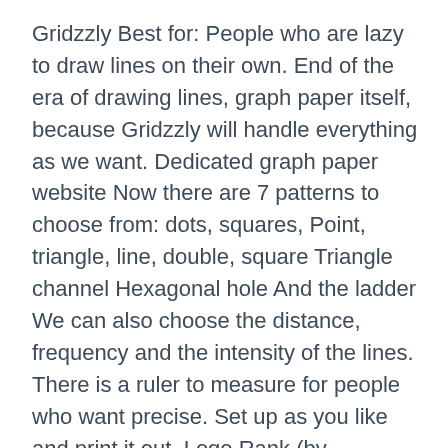Gridzzly Best for: People who are lazy to draw lines on their own. End of the era of drawing lines, graph paper itself, because Gridzzly will handle everything as we want. Dedicated graph paper website Now there are 7 patterns to choose from: dots, squares, Point, triangle, line, double, square Triangle channel Hexagonal hole And the ladder We can also choose the distance, frequency and the intensity of the lines. There is a ruler to measure for people who want precise. Set up as you like and print it out. Logo Rank (by Brandmark) Suitable for: Designers who want to develop their own logo design. Logo Rank is a feature of Brandmark.io that is both very useful. And frightening at the same time Because its function is to comment logos (logo) that we